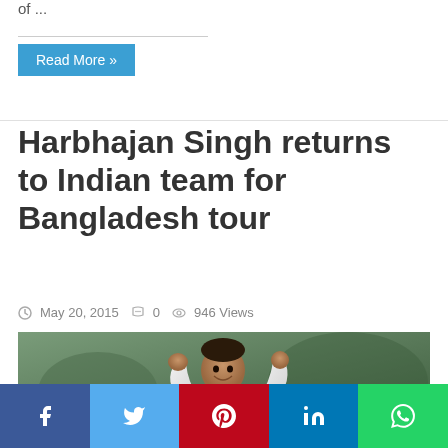of ...
Read More »
Harbhajan Singh returns to Indian team for Bangladesh tour
May 20, 2015  0  946 Views
[Figure (photo): Harbhajan Singh celebrating in Indian cricket whites (Sahara jersey), pumping his fist]
Facebook share button
Twitter share button
Pinterest share button
LinkedIn share button
WhatsApp share button